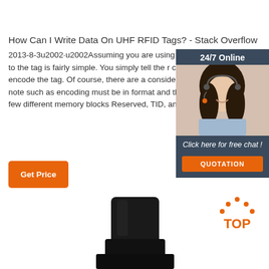How Can I Write Data On UHF RFID Tags? - Stack Overflow
2013-8-3u2002·u2002Assuming you are using a ge writing to the tag is fairly simple. You simply tell the r command) to encode the tag. Of course, there are a considerations to note such as encoding must be in format and there are a few different memory blocks Reserved, TID, and User.
[Figure (other): 24/7 Online chat support advertisement with woman wearing headset, showing 'Click here for free chat!' and 'QUOTATION' button]
[Figure (other): Orange 'Get Price' button]
[Figure (logo): TOP logo with orange dots arranged in an arc above the text 'TOP']
[Figure (photo): Partial view of a black object at the bottom of the page]